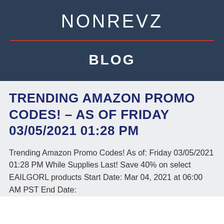NONREVZ
BLOG
TRENDING AMAZON PROMO CODES! – AS OF FRIDAY 03/05/2021 01:28 PM
Trending Amazon Promo Codes! As of: Friday 03/05/2021 01:28 PM While Supplies Last! Save 40% on select EAILGORL products Start Date: Mar 04, 2021 at 06:00 AM PST End Date: